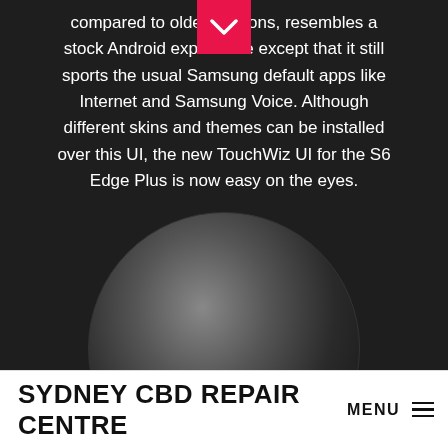compared to older versions, resembles a stock Android experience except that it still sports the usual Samsung default apps like Internet and Samsung Voice. Although different skins and themes can be installed over this UI, the new TouchWiz UI for the S6 Edge Plus is now easy on the eyes.
[Figure (illustration): A circular home button with a dark radial gradient giving a 3D spherical appearance against a dark background]
EASY ACCESS
SYDNEY CBD REPAIR CENTRE MENU ≡